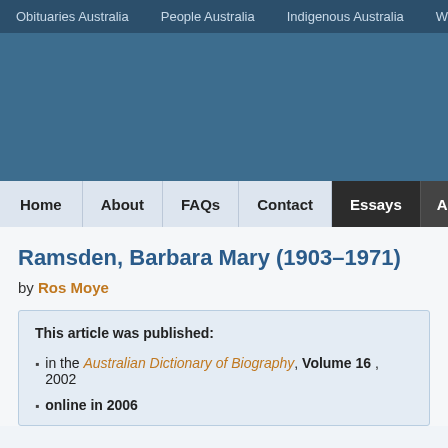Obituaries Australia   People Australia   Indigenous Australia   Wo...
[Figure (other): Blue banner/header area for Australian Dictionary of Biography website]
Home   About   FAQs   Contact   Essays   Adv...
Ramsden, Barbara Mary (1903–1971)
by Ros Moye
This article was published:
- in the Australian Dictionary of Biography, Volume 16, 2002
- online in 2006